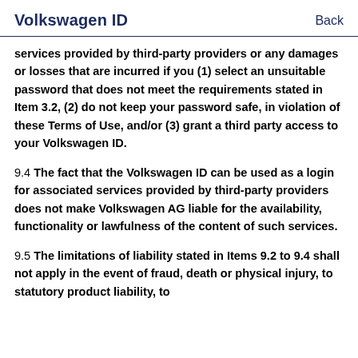Volkswagen ID    Back
services provided by third-party providers or any damages or losses that are incurred if you (1) select an unsuitable password that does not meet the requirements stated in Item 3.2, (2) do not keep your password safe, in violation of these Terms of Use, and/or (3) grant a third party access to your Volkswagen ID.
9.4 The fact that the Volkswagen ID can be used as a login for associated services provided by third-party providers does not make Volkswagen AG liable for the availability, functionality or lawfulness of the content of such services.
9.5 The limitations of liability stated in Items 9.2 to 9.4 shall not apply in the event of fraud, death or physical injury, to statutory product liability, to